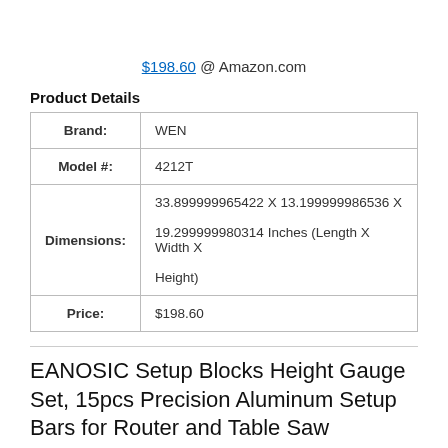$198.60 @ Amazon.com
Product Details
| Brand: | WEN |
| Model #: | 4212T |
| Dimensions: | 33.899999965422 X 13.199999986536 X 19.299999980314 Inches (Length X Width X Height) |
| Price: | $198.60 |
EANOSIC Setup Blocks Height Gauge Set, 15pcs Precision Aluminum Setup Bars for Router and Table Saw Accessories